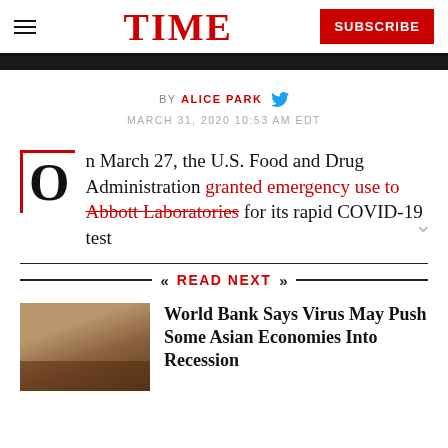TIME — SUBSCRIBE
BY ALICE PARK
MARCH 31, 2020 10:53 AM EDT
On March 27, the U.S. Food and Drug Administration granted emergency use to Abbott Laboratories for its rapid COVID-19 test
READ NEXT
World Bank Says Virus May Push Some Asian Economies Into Recession